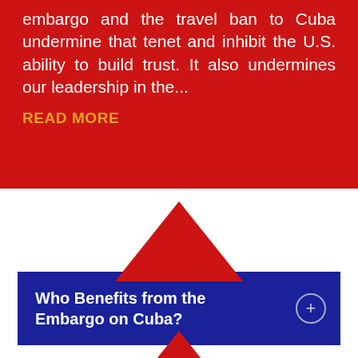embargo and the travel ban to Cuba undermine that tenet and inhibit the U.S. ability to build trust. It also undermines our leadership in the...
READ MORE
[Figure (infographic): Red upward-pointing triangle above blue bar labeled 'Who Benefits from the Embargo on Cuba?' with a plus circle icon]
Who Benefits from the Embargo on Cuba?
[Figure (infographic): Red upward-pointing triangle above blue bar labeled 'Who Opposes the Embargo on']
Who Opposes the Embargo on